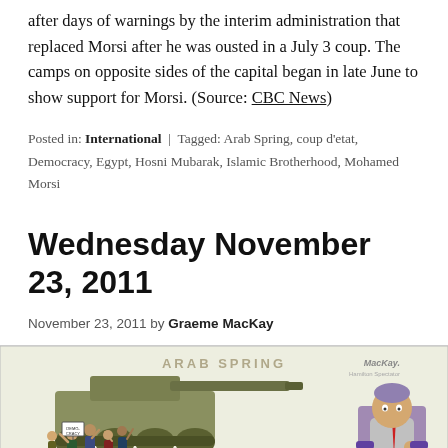after days of warnings by the interim administration that replaced Morsi after he was ousted in a July 3 coup. The camps on opposite sides of the capital began in late June to show support for Morsi. (Source: CBC News)
Posted in: International | Tagged: Arab Spring, coup d'etat, Democracy, Egypt, Hosni Mubarak, Islamic Brotherhood, Mohamed Morsi
Wednesday November 23, 2011
November 23, 2011 by Graeme MacKay
[Figure (illustration): Editorial cartoon by MacKay titled 'Arab Spring' showing a crowd of protesters being run over by a tank on the left, and a figure (likely a politician/dictator) sitting in a chair on the right.]